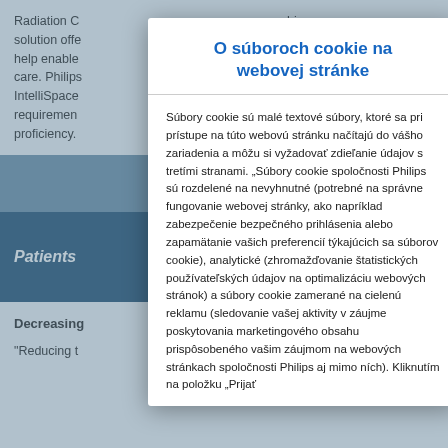Radiation C... ship solution offe... support to help enable... nt-centric care. Philips... e IntelliSpace... rtmental requirements... ure staff proficiency.
Patients ... es"
Decreasing...
"Reducing t... rtant, Dr.
O súboroch cookie na webovej stránke
Súbory cookie sú malé textové súbory, ktoré sa pri prístupe na túto webovú stránku načítajú do vášho zariadenia a môžu si vyžadovať zdieľanie údajov s tretími stranami. „Súbory cookie spoločnosti Philips sú rozdelené na nevyhnutné (potrebné na správne fungovanie webovej stránky, ako napríklad zabezpečenie bezpečného prihlásenia alebo zapamätanie vašich preferencií týkajúcich sa súborov cookie), analytické (zhromažďovanie štatistických používateľských údajov na optimalizáciu webových stránok) a súbory cookie zamerané na cielenú reklamu (sledovanie vašej aktivity v záujme poskytovania marketingového obsahu prispôsobeného vašim záujmom na webových stránkach spoločnosti Philips aj mimo ných). Kliknutím na položku „Prijať